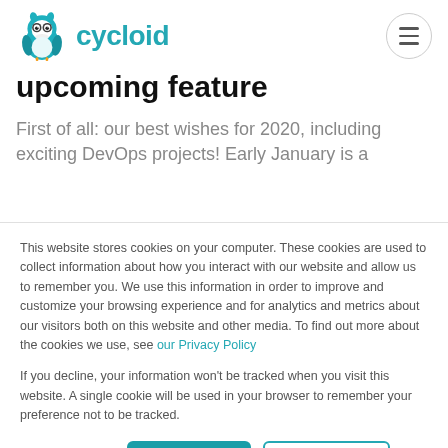cycloid
upcoming feature
First of all: our best wishes for 2020, including exciting DevOps projects! Early January is a
This website stores cookies on your computer. These cookies are used to collect information about how you interact with our website and allow us to remember you. We use this information in order to improve and customize your browsing experience and for analytics and metrics about our visitors both on this website and other media. To find out more about the cookies we use, see our Privacy Policy
If you decline, your information won’t be tracked when you visit this website. A single cookie will be used in your browser to remember your preference not to be tracked.
Cookies settings | Accept All | Decline All